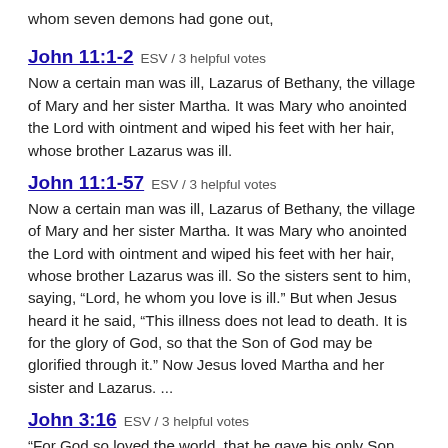whom seven demons had gone out,
John 11:1-2 ESV / 3 helpful votes
Now a certain man was ill, Lazarus of Bethany, the village of Mary and her sister Martha. It was Mary who anointed the Lord with ointment and wiped his feet with her hair, whose brother Lazarus was ill.
John 11:1-57 ESV / 3 helpful votes
Now a certain man was ill, Lazarus of Bethany, the village of Mary and her sister Martha. It was Mary who anointed the Lord with ointment and wiped his feet with her hair, whose brother Lazarus was ill. So the sisters sent to him, saying, “Lord, he whom you love is ill.” But when Jesus heard it he said, “This illness does not lead to death. It is for the glory of God, so that the Son of God may be glorified through it.” Now Jesus loved Martha and her sister and Lazarus. ...
John 3:16 ESV / 3 helpful votes
“For God so loved the world, that he gave his only Son, that whoever believes in him should not perish but have eternal life.